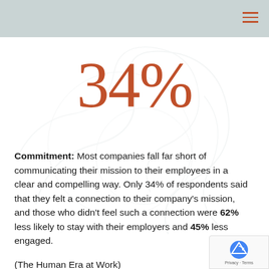34%
Commitment: Most companies fall far short of communicating their mission to their employees in a clear and compelling way. Only 34% of respondents said that they felt a connection to their company's mission, and those who didn't feel such a connection were 62% less likely to stay with their employers and 45% less engaged.
(The Human Era at Work)